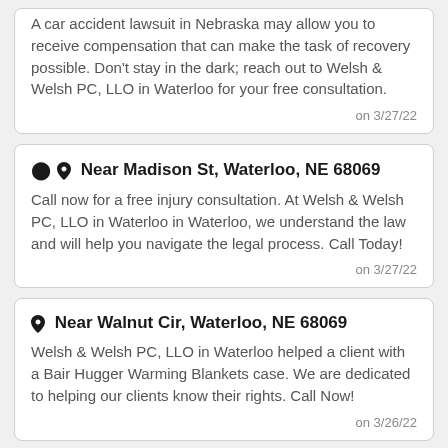A car accident lawsuit in Nebraska may allow you to receive compensation that can make the task of recovery possible. Don't stay in the dark; reach out to Welsh & Welsh PC, LLO in Waterloo for your free consultation.
on 3/27/22
Near Madison St, Waterloo, NE 68069
Call now for a free injury consultation. At Welsh & Welsh PC, LLO in Waterloo in Waterloo, we understand the law and will help you navigate the legal process. Call Today!
on 3/27/22
Near Walnut Cir, Waterloo, NE 68069
Welsh & Welsh PC, LLO in Waterloo helped a client with a Bair Hugger Warming Blankets case. We are dedicated to helping our clients know their rights. Call Now!
on 3/26/22